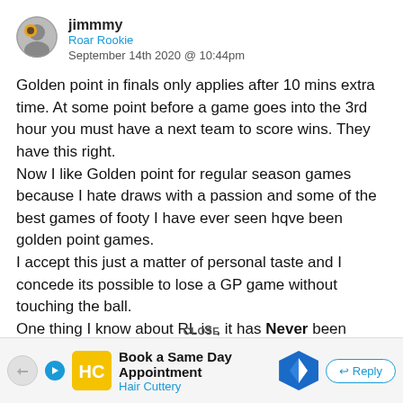jimmmy
Roar Rookie
September 14th 2020 @ 10:44pm
Golden point in finals only applies after 10 mins extra time. At some point before a game goes into the 3rd hour you must have a next team to score wins. They have this right.
Now I like Golden point for regular season games because I hate draws with a passion and some of the best games of footy I have ever seen hqve been golden point games.
I accept this just a matter of personal taste and I concede its possible to lose a GP game without touching the ball.
One thing I know about RL is , it has Never been based on equality or egality ( fraternity for sure) . It's one of the reasons I love it.
CLOSE
Book a Same Day Appointment
Hair Cuttery